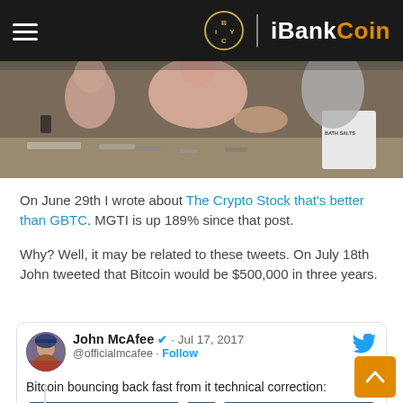iBankCoin
[Figure (photo): Group of people around a table, with a container labeled 'BATH SALTS' visible on the right side.]
On June 29th I wrote about The Crypto Stock that's better than GBTC. MGTI is up 189% since that post.
Why? Well, it may be related to these tweets. On July 18th John tweeted that Bitcoin would be $500,000 in three years.
[Figure (screenshot): Tweet by John McAfee (@officialmcafee) dated Jul 17, 2017: 'Bitcoin bouncing back fast from it technical correction:' with Send/Receive buttons visible at bottom.]